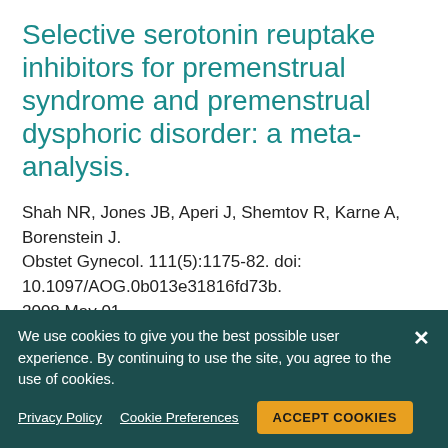Selective serotonin reuptake inhibitors for premenstrual syndrome and premenstrual dysphoric disorder: a meta-analysis.
Shah NR, Jones JB, Aperi J, Shemtov R, Karne A, Borenstein J.
Obstet Gynecol. 111(5):1175-82. doi: 10.1097/AOG.0b013e31816fd73b.
2008 May 01
We use cookies to give you the best possible user experience. By continuing to use the site, you agree to the use of cookies.
Privacy Policy   Cookie Preferences   ACCEPT COOKIES